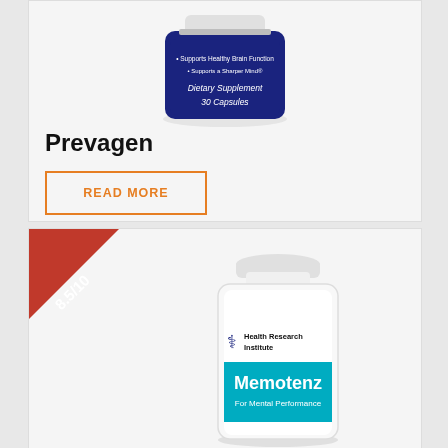[Figure (photo): Prevagen dietary supplement bottle - dark blue/navy bottle with white text reading 'Supports Healthy Brain Function', 'Supports a Sharper Mind', 'Dietary Supplement', '30 Capsules']
Prevagen
READ MORE
[Figure (photo): Memotenz dietary supplement bottle - white bottle with teal/cyan label reading 'Health Research Institute', 'Memotenz', 'For Mental Performance'. Red ribbon badge in upper left corner showing rating '8.5/10']